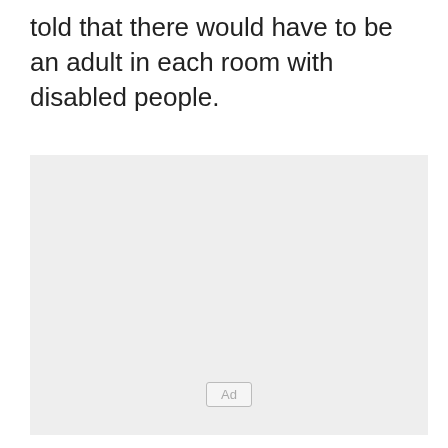told that there would have to be an adult in each room with disabled people.
[Figure (other): Advertisement placeholder box with 'Ad' label button centered near the bottom]